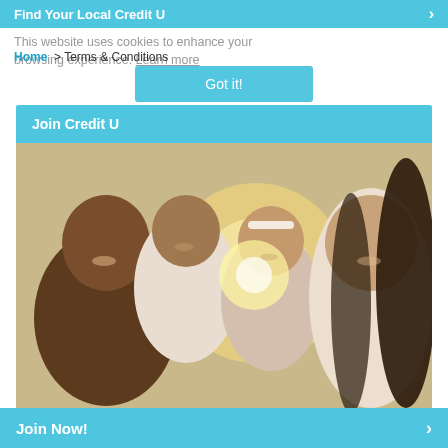Find Your Local Credit U  >
This website uses cookies to enhance your browsing experience. Learn more
Home  >  Terms & Conditions
Got it!
Join Credit U
[Figure (photo): A smiling family of four — father, son, daughter, and mother — posing together outdoors in bright sunlight]
Find your local Credit Unions and access better financial services through Credit U membership.
Join Now!  >